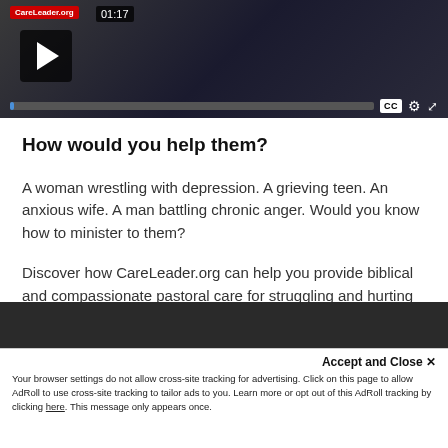[Figure (screenshot): Video player thumbnail showing a paused video with play button, timestamp 01:17, progress bar, CC button, settings gear, and fullscreen icon on a dark background.]
How would you help them?
A woman wrestling with depression. A grieving teen. An anxious wife. A man battling chronic anger. Would you know how to minister to them?
Discover how CareLeader.org can help you provide biblical and compassionate pastoral care for struggling and hurting people in your church.
Accept and Close ✕
Your browser settings do not allow cross-site tracking for advertising. Click on this page to allow AdRoll to use cross-site tracking to tailor ads to you. Learn more or opt out of this AdRoll tracking by clicking here. This message only appears once.